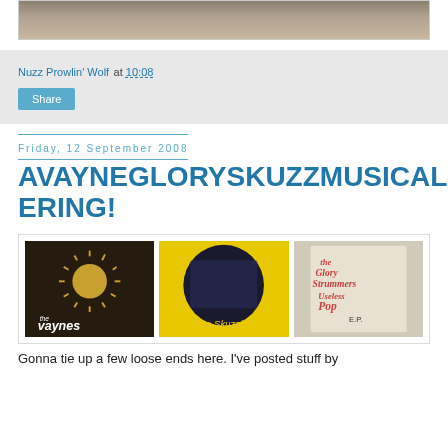[Figure (photo): Top portion of a black and white photograph, partially cropped, showing people]
Nuzz Prowlin' Wolf at 10:08
Share
Friday, 12 September 2008
AVAYNEGLORYKUZZMUSICALOFFERING!
[Figure (photo): Three album covers side by side: The Vaynes (dark brown with sun design), The Skuzzies (yellow background with circular band photo), The Glory Strummers Useless Pop E.P. (handwritten style cover)]
Gonna tie up a few loose ends here. I've posted stuff by